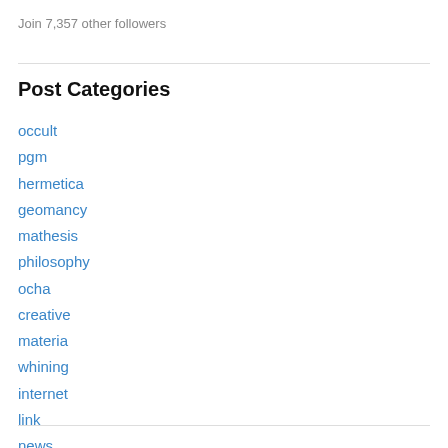Join 7,357 other followers
Post Categories
occult
pgm
hermetica
geomancy
mathesis
philosophy
ocha
creative
materia
whining
internet
link
news